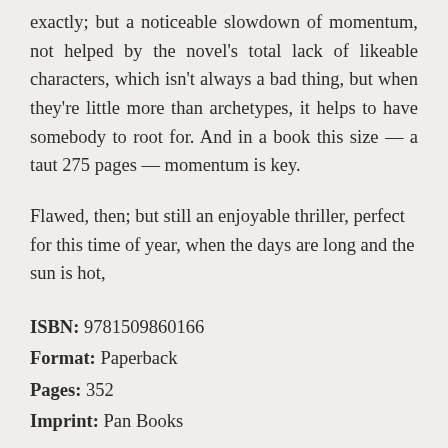exactly; but a noticeable slowdown of momentum, not helped by the novel's total lack of likeable characters, which isn't always a bad thing, but when they're little more than archetypes, it helps to have somebody to root for. And in a book this size — a taut 275 pages — momentum is key.
Flawed, then; but still an enjoyable thriller, perfect for this time of year, when the days are long and the sun is hot,
ISBN: 9781509860166
Format: Paperback
Pages: 352
Imprint: Pan Books